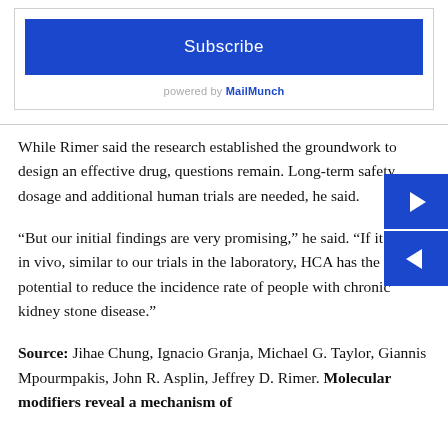[Figure (other): Subscribe button widget with blue background, text reading 'Subscribe', and 'powered by MailMunch' credit below]
While Rimer said the research established the groundwork to design an effective drug, questions remain. Long-term safety, dosage and additional human trials are needed, he said.
“But our initial findings are very promising,” he said. “If it works in vivo, similar to our trials in the laboratory, HCA has the potential to reduce the incidence rate of people with chronic kidney stone disease.”
Source: Jihae Chung, Ignacio Granja, Michael G. Taylor, Giannis Mpourmpakis, John R. Asplin, Jeffrey D. Rimer. Molecular modifiers reveal a mechanism of